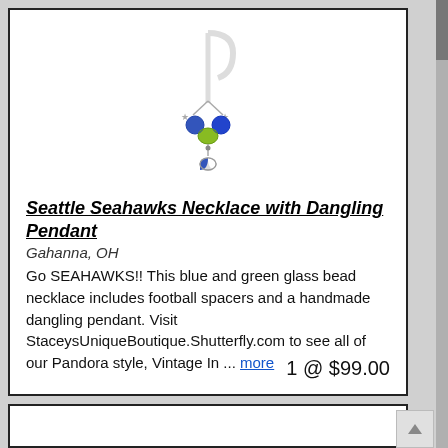[Figure (photo): Product photo of a Seattle Seahawks necklace with dangling pendant displayed on a white hook/hanger. The necklace features blue and green glass beads with football spacers and a dangling pendant.]
Seattle Seahawks Necklace with Dangling Pendant
Gahanna, OH
Go SEAHAWKS!! This blue and green glass bead necklace includes football spacers and a handmade dangling pendant. Visit StaceysUniqueBoutique.Shutterfly.com to see all of our Pandora style, Vintage In ... more
1 @ $99.00
[Figure (photo): Partial view of a second product listing card, cut off at the bottom of the page.]